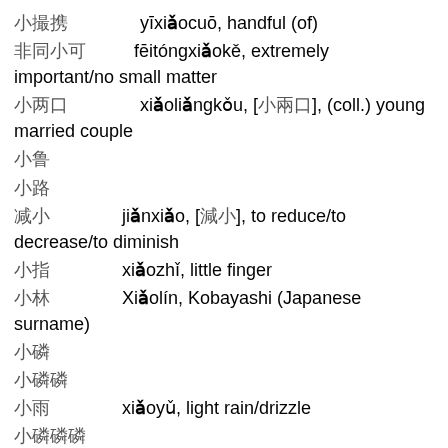一小撮  yīxiǎocuō, handful (of)
非同小可  fēitóngxiǎokě, extremely important/no small matter
小两口  xiǎoliǎngkǒu, [小兩口], (coll.) young married couple
小鲁
小路
减小  jiǎnxiǎo, [減小], to reduce/to decrease/to diminish
小指  xiǎozhǐ, little finger
小林  Xiǎolín, Kobayashi (Japanese surname)
小磷
小磷磷
小雨  xiǎoyǔ, light rain/drizzle
小磷磷磷
小夜曲  xiǎoyèqǔ, serenade
小算盘  xiǎosuànpán, [小算盤], lit. small abacus/fig.